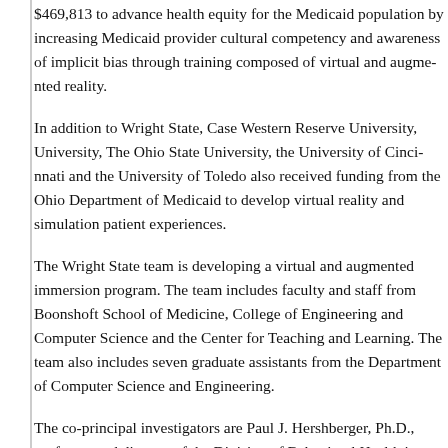$469,813 to advance health equity for the Medicaid population by increasing Medicaid provider cultural competency and awareness of implicit bias through training composed of virtual and augmented reality.
In addition to Wright State, Case Western Reserve University, University, The Ohio State University, the University of Cincinnati and the University of Toledo also received funding from the Ohio Department of Medicaid to develop virtual reality and simulation patient experiences.
The Wright State team is developing a virtual and augmented immersion program. The team includes faculty and staff from the Boonshoft School of Medicine, College of Engineering and Computer Science and the Center for Teaching and Learning. The team also includes seven graduate assistants from the Department of Computer Science and Engineering.
The co-principal investigators are Paul J. Hershberger, Ph.D., professor and director of the Division of Behavioral Health in the Department of Family Medicine at the Boonshoft School of Medicine and Yong Pei, Ph.D., associate professor of computer science